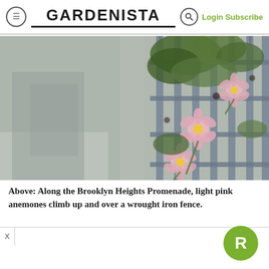GARDENISTA | Login Subscribe
[Figure (photo): Light pink anemone flowers climbing up and over a grey wrought iron fence along the Brooklyn Heights Promenade. The flowers are in focus against a blurred background of a sidewalk and buildings.]
Above: Along the Brooklyn Heights Promenade, light pink anemones climb up and over a wrought iron fence.